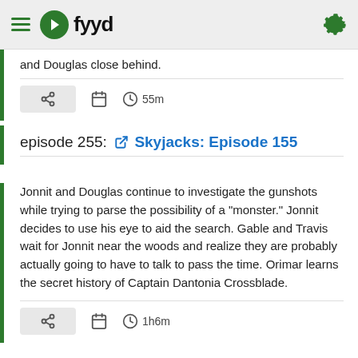fyyd
and Douglas close behind.
55m
episode 255: Skyjacks: Episode 155
Jonnit and Douglas continue to investigate the gunshots while trying to parse the possibility of a "monster." Jonnit decides to use his eye to aid the search. Gable and Travis wait for Jonnit near the woods and realize they are probably actually going to have to talk to pass the time. Orimar learns the secret history of Captain Dantonia Crossblade.
1h6m